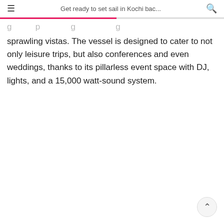Get ready to set sail in Kochi bac...
sprawling vistas. The vessel is designed to cater to not only leisure trips, but also conferences and even weddings, thanks to its pillarless event space with DJ, lights, and a 15,000 watt-sound system.